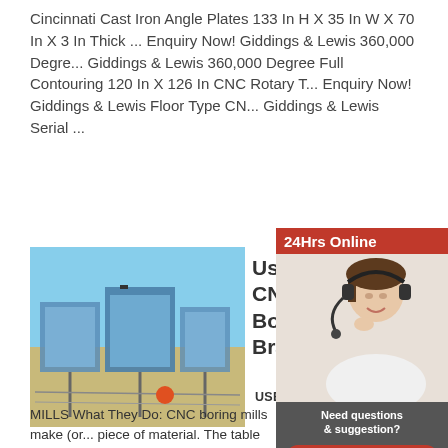Cincinnati Cast Iron Angle Plates 133 In H X 35 In W X 70 In X 3 In Thick ... Enquiry Now! Giddings & Lewis 360,000 Degre... Giddings & Lewis 360,000 Degree Full Contouring 120 In X 126 In CNC Rotary T... Enquiry Now! Giddings & Lewis Floor Type CN... Giddings & Lewis Serial ...
[Figure (photo): Outdoor industrial equipment, possibly solar panels or conveyor structures in a desert/arid environment with blue sky]
Used CNC Boring Mills Brand | Prem
[Figure (photo): Advertisement panel showing a woman with headset (customer service agent), '24Hrs Online' header, 'Need questions & suggestion?', 'Chat Now' button, 'Enquiry' and 'limingjlmofen' sections]
USED HORIZON MILLS What They Do: CNC boring mills make (or... piece of material. The table type is considered the... and versatile of boring mills, but there are also pla... types for horizontal milling